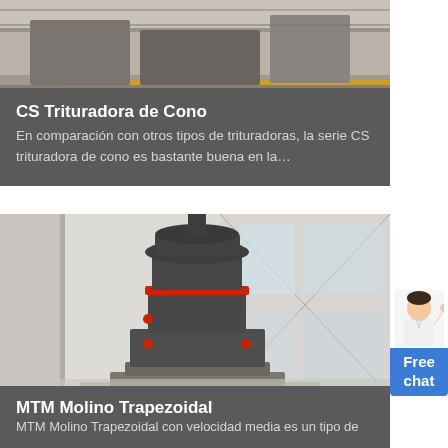[Figure (photo): Photo of industrial crushing/conveying machinery on tracks in a factory setting, top portion visible]
CS Trituradora de Cono
En comparación con otros tipos de trituradoras, la serie CS trituradora de cono es bastante buena en la…
[Figure (photo): Photo of a large MTM Trapezoidal Mill machine (dark gray cylindrical grinding mill with red accent ring) inside an industrial building with large X-shaped window structures in background]
MTM Molino Trapezoidal
MTM Molino Trapezoidal con velocidad media es un tipo de